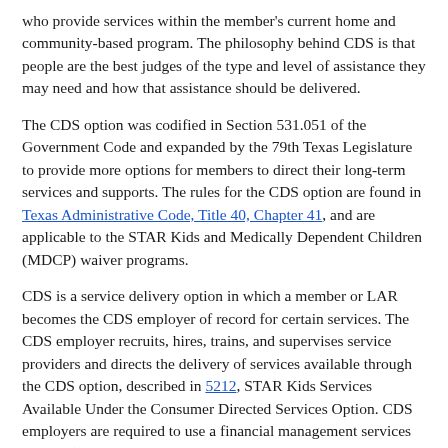who provide services within the member's current home and community-based program. The philosophy behind CDS is that people are the best judges of the type and level of assistance they may need and how that assistance should be delivered.
The CDS option was codified in Section 531.051 of the Government Code and expanded by the 79th Texas Legislature to provide more options for members to direct their long-term services and supports. The rules for the CDS option are found in Texas Administrative Code, Title 40, Chapter 41, and are applicable to the STAR Kids and Medically Dependent Children (MDCP) waiver programs.
CDS is a service delivery option in which a member or LAR becomes the CDS employer of record for certain services. The CDS employer recruits, hires, trains, and supervises service providers and directs the delivery of services available through the CDS option, described in 5212, STAR Kids Services Available Under the Consumer Directed Services Option. CDS employers are required to use a financial management services agency (FMSA), contracted with the managed care organization to provide financial management services (FMS). FMSAs conduct payroll and pay employer federal and state taxes on behalf of CDS employers, and provide orientation and ongoing support for members who choose the CDS option. FMSA roles and